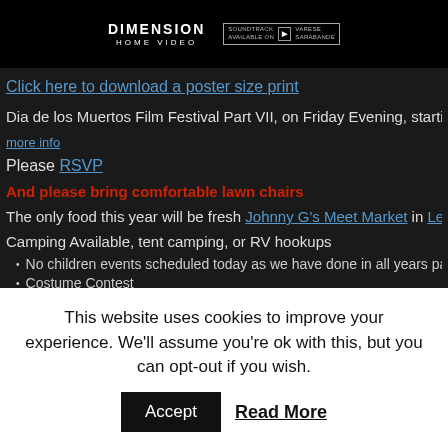[Figure (logo): Dimension Home Video logo in white text on black background, with a soundtrack available badge on the right]
Click here to download a poster size print
Dia de los Muertos Film Festival Part VII, on Friday Evening, starting at dusk: 6:44 P
Please RSVP
And please bring comfortable lawn chairs
The only food this year will be fresh Johnny G's Meet Market in Leave Manchaca Alo
Camping Available, tent camping, or RV hookups
No children events scheduled today as we have done in all years past, instead th
Costume Contest
This website uses cookies to improve your experience. We'll assume you're ok with this, but you can opt-out if you wish.